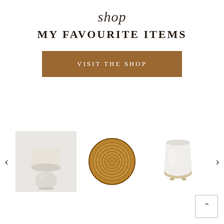shop
MY FAVOURITE ITEMS
VISIT THE SHOP
[Figure (photo): A white ceramic table lamp with a round ball base and cylindrical linen shade, on a light grey background]
[Figure (photo): A round woven seagrass decorative basket bowl photographed from above on white background]
[Figure (photo): A white ceramic jar/vase with a natural clay/beige lower portion and small decorative feet]